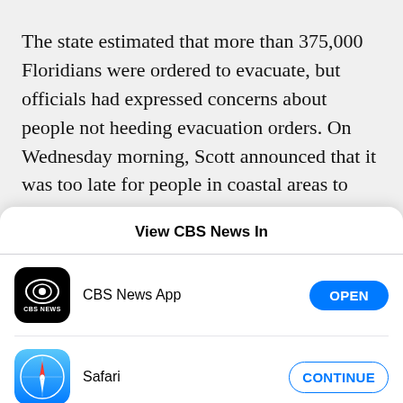The state estimated that more than 375,000 Floridians were ordered to evacuate, but officials had expressed concerns about people not heeding evacuation orders. On Wednesday morning, Scott announced that it was too late for people in coastal areas to evacuate and that they should seek shelter in place.
View CBS News In
[Figure (screenshot): iOS app picker modal showing two options: CBS News App with an OPEN button, and Safari with a CONTINUE button]